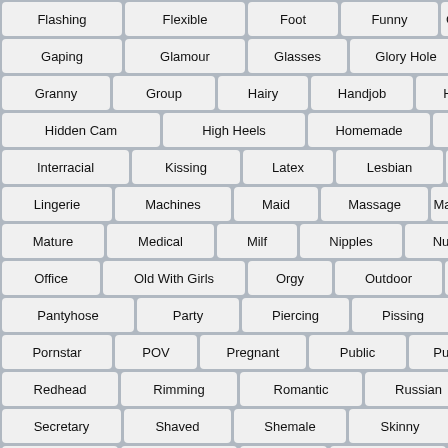Flashing
Flexible
Foot
Funny
GangBang
Gaping
Glamour
Glasses
Glory Hole
Gothic
Granny
Group
Hairy
Handjob
Hardcore
Hentai
Hidden Cam
High Heels
Homemade
Insertion
Interracial
Kissing
Latex
Lesbian
Lick
Lingerie
Machines
Maid
Massage
Masturbation
Mature
Medical
Milf
Nipples
Nurse
Nylon
Office
Old With Girls
Orgy
Outdoor
Panties
Pantyhose
Party
Piercing
Pissing
Pool
Pornstar
POV
Pregnant
Public
Pussy
Reality
Redhead
Rimming
Romantic
Russian
Schoolgirl
Secretary
Shaved
Shemale
Skinny
Small Tits
Smoking
Softcore
Solo
Spanking
Sport